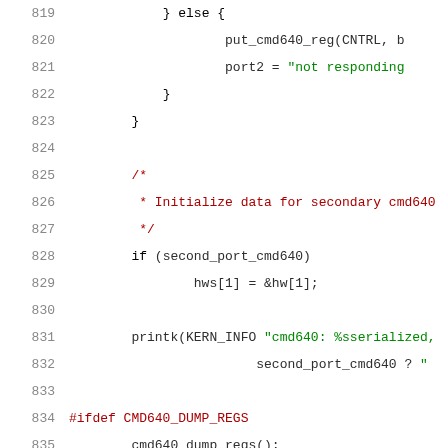Source code listing lines 819-839, C kernel code for cmd640 IDE driver
819    } else {
820        put_cmd640_reg(CNTRL, b
821        port2 = "not responding
822    }
823    }
824
825    /*
826     * Initialize data for secondary cmd640
827     */
828    if (second_port_cmd640)
829        hws[1] = &hw[1];
830
831    printk(KERN_INFO "cmd640: %sserialized,
832            second_port_cmd640 ? "
833
834    #ifdef CMD640_DUMP_REGS
835        cmd640_dump_regs();
836    #endif
837
838        return ide_host_add(&cmd640_port_info, N
839                NULL);